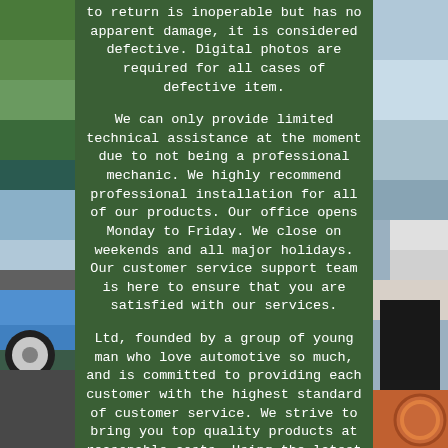[Figure (photo): Background photo collage showing a blue car on the left side and car parts/accessories on the right side, with a dark green text overlay panel in the center]
to return is inoperable but has no apparent damage, it is considered defective. Digital photos are required for all cases of defective item.

We can only provide limited technical assistance at the moment due to not being a professional mechanic. We highly recommend professional installation for all of our products. Our office opens Monday to Friday. We close on weekends and all major holidays. Our customer service support team is here to ensure that you are satisfied with our services.

Ltd, founded by a group of young man who love automotive so much, and is committed to providing each customer with the highest standard of customer service. We strive to bring you top quality products at reasonable costs. Using the latest